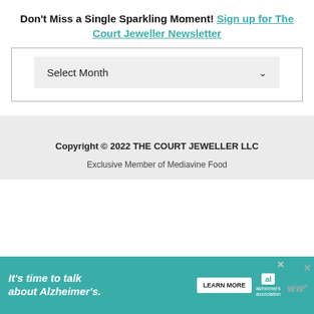Don't Miss a Single Sparkling Moment! Sign up for The Court Jeweller Newsletter
Select Month
Copyright © 2022 THE COURT JEWELLER LLC
Exclusive Member of Mediavine Food
[Figure (screenshot): Advertisement banner: It's time to talk about Alzheimer's. with a Learn More button, Alzheimer's Association logo, and close buttons.]